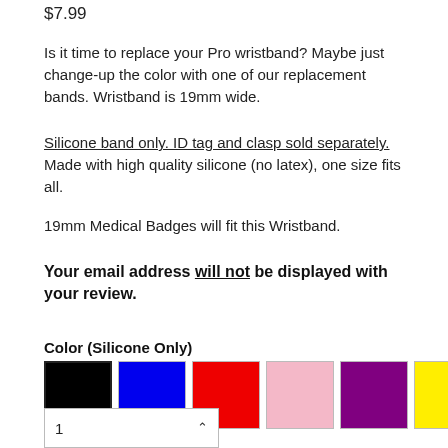$7.99
Is it time to replace your Pro wristband? Maybe just change-up the color with one of our replacement bands. Wristband is 19mm wide.
Silicone band only. ID tag and clasp sold separately. Made with high quality silicone (no latex), one size fits all.
19mm Medical Badges will fit this Wristband.
Your email address will not be displayed with your review.
Color (Silicone Only)
[Figure (other): Six color swatches: black (selected), blue, red, pink, purple, yellow]
1